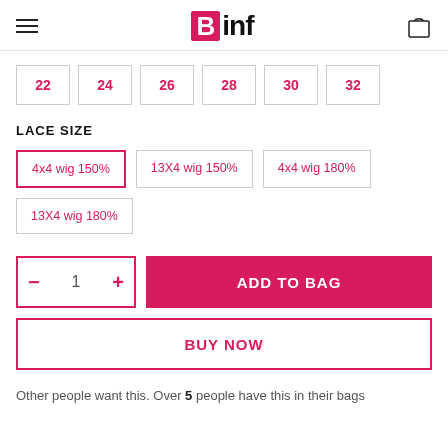Binf logo with hamburger menu and bag icon
22  24  26  28  30  32
LACE SIZE
4x4 wig 150%  13X4 wig 150%  4x4 wig 180%
13X4 wig 180%
- 1 + ADD TO BAG
BUY NOW
Other people want this. Over 5 people have this in their bags